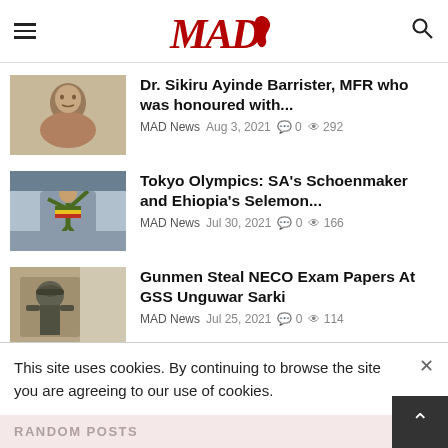MAD Africa News
Dr. Sikiru Ayinde Barrister, MFR who was honoured with...
MAD News  Aug 3, 2021  0  292
Tokyo Olympics: SA's Schoenmaker and Ehiopia's Selemon...
MAD News  Jul 30, 2021  0  166
Gunmen Steal NECO Exam Papers At GSS Unguwar Sarki
MAD News  Jul 25, 2021  0  114
This site uses cookies. By continuing to browse the site you are agreeing to our use of cookies.
RANDOM POSTS